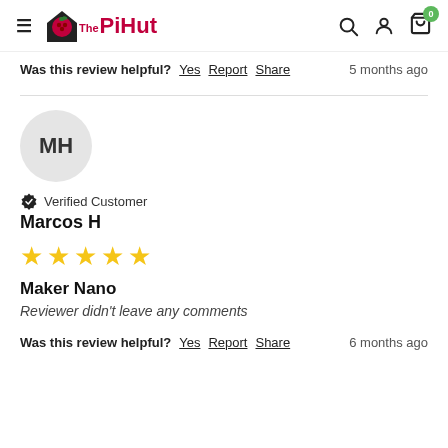The PiHut
Was this review helpful? Yes Report Share   5 months ago
[Figure (other): Gray avatar circle with initials MH]
Verified Customer
Marcos H
[Figure (other): 5 yellow stars rating]
Maker Nano
Reviewer didn't leave any comments
Was this review helpful? Yes Report Share   6 months ago